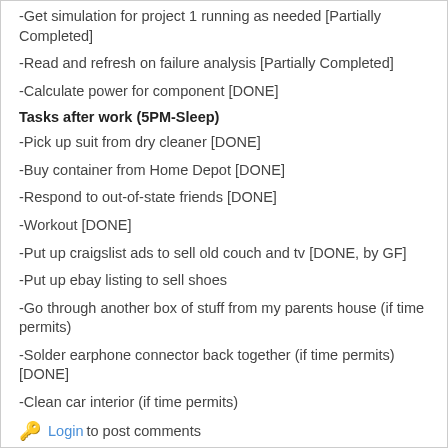-Get simulation for project 1 running as needed [Partially Completed]
-Read and refresh on failure analysis [Partially Completed]
-Calculate power for component [DONE]
Tasks after work (5PM-Sleep)
-Pick up suit from dry cleaner [DONE]
-Buy container from Home Depot [DONE]
-Respond to out-of-state friends [DONE]
-Workout [DONE]
-Put up craigslist ads to sell old couch and tv [DONE, by GF]
-Put up ebay listing to sell shoes
-Go through another box of stuff from my parents house (if time permits)
-Solder earphone connector back together (if time permits) [DONE]
-Clean car interior (if time permits)
Login to post comments